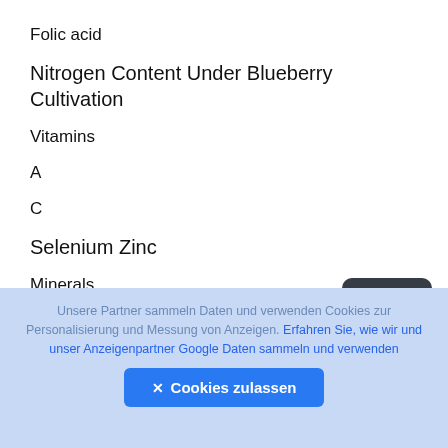Folic acid
Nitrogen Content Under Blueberry Cultivation
Vitamins
A
C
Selenium Zinc
Minerals
Unsere Partner sammeln Daten und verwenden Cookies zur Personalisierung und Messung von Anzeigen. Erfahren Sie, wie wir und unser Anzeigenpartner Google Daten sammeln und verwenden ✕ Cookies zulassen